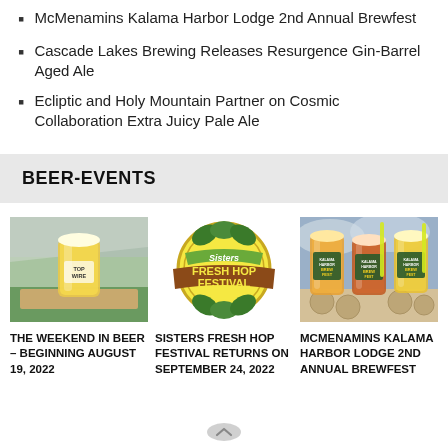McMenamins Kalama Harbor Lodge 2nd Annual Brewfest
Cascade Lakes Brewing Releases Resurgence Gin-Barrel Aged Ale
Ecliptic and Holy Mountain Partner on Cosmic Collaboration Extra Juicy Pale Ale
BEER-EVENTS
[Figure (photo): A glass of beer labeled TOP WIRE sitting on a wooden table outdoors at a festival with shade canopies in the background]
[Figure (logo): Sisters Fresh Hop Festival circular logo with hops and mountain imagery]
[Figure (photo): Three branded Kalama Harbor Lodge Brewfest glasses filled with beer sitting on coasters]
THE WEEKEND IN BEER – BEGINNING AUGUST 19, 2022
SISTERS FRESH HOP FESTIVAL RETURNS ON SEPTEMBER 24, 2022
MCMENAMINS KALAMA HARBOR LODGE 2ND ANNUAL BREWFEST